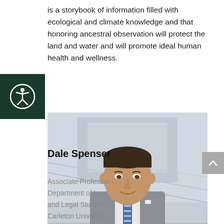is a storybook of information filled with ecological and climate knowledge and that honoring ancestral observation will protect the land and water and will promote ideal human health and wellness.
[Figure (photo): Headshot of Dale Spenser, a man in a grey suit with a blue striped tie, smiling, in an indoor setting.]
Dale Spenser
Associate Professor, Department of Law and Legal Studies at Carleton University